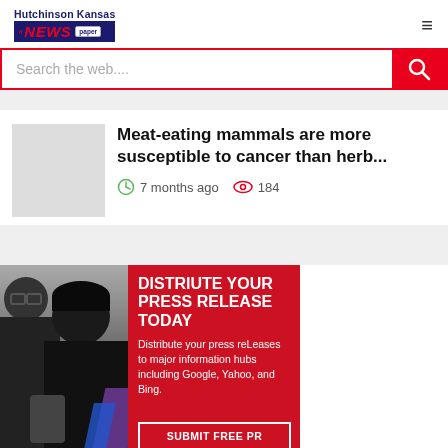Hutchinson Kansas NEWS paper
Search the web....
Meat-eating mammals are more susceptible to cancer than herb...
7 months ago   184
[Figure (photo): Advertisement banner showing two women smiling at phones, with red background promoting press release distribution service. Text reads: DISTRIUTE YOUR PRESS RELEASE TODAY. Distribute your press releases to major information hubs including Google, Yahoo, and Bing. SUBMIT FREE PR]